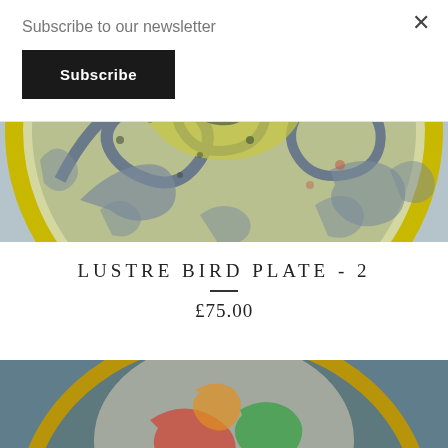Subscribe to our newsletter
Subscribe
×
[Figure (photo): Close-up top portion of a decorative ceramic lustre bird plate with blue-grey swirling patterns and yellow/gold rim on a light grey background]
LUSTRE BIRD PLATE - 2
£75.00
[Figure (photo): Top portion of a second decorative ceramic plate with colorful bird motif on dark teal/grey background, showing partial view from below]